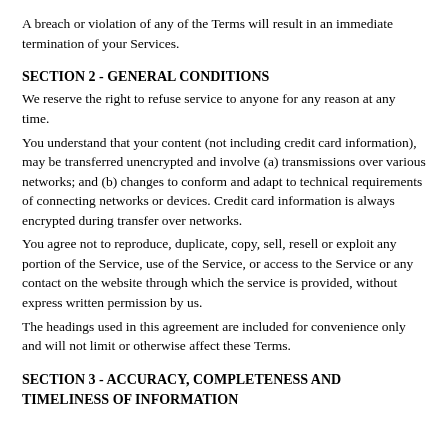A breach or violation of any of the Terms will result in an immediate termination of your Services.
SECTION 2 - GENERAL CONDITIONS
We reserve the right to refuse service to anyone for any reason at any time.
You understand that your content (not including credit card information), may be transferred unencrypted and involve (a) transmissions over various networks; and (b) changes to conform and adapt to technical requirements of connecting networks or devices. Credit card information is always encrypted during transfer over networks.
You agree not to reproduce, duplicate, copy, sell, resell or exploit any portion of the Service, use of the Service, or access to the Service or any contact on the website through which the service is provided, without express written permission by us.
The headings used in this agreement are included for convenience only and will not limit or otherwise affect these Terms.
SECTION 3 - ACCURACY, COMPLETENESS AND TIMELINESS OF INFORMATION